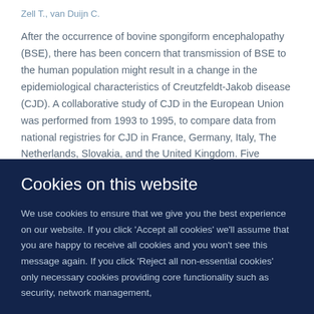Zell T., van Duijn C.
After the occurrence of bovine spongiform encephalopathy (BSE), there has been concern that transmission of BSE to the human population might result in a change in the epidemiological characteristics of Creutzfeldt-Jakob disease (CJD). A collaborative study of CJD in the European Union was performed from 1993 to 1995, to compare data from national registries for CJD in France, Germany, Italy, The Netherlands, Slovakia, and the United Kingdom. Five hundred seventy-five patients with definite or probable CJD died in the
Cookies on this website
We use cookies to ensure that we give you the best experience on our website. If you click 'Accept all cookies' we'll assume that you are happy to receive all cookies and you won't see this message again. If you click 'Reject all non-essential cookies' only necessary cookies providing core functionality such as security, network management,